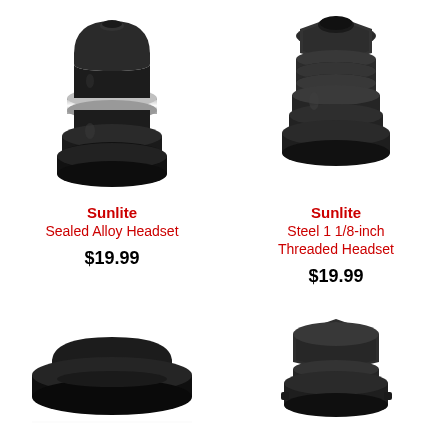[Figure (photo): Black Sunlite Sealed Alloy Headset bicycle headset component, top-left product]
Sunlite
Sealed Alloy Headset
$19.99
[Figure (photo): Dark gunmetal Sunlite Steel 1 1/8-inch Threaded Headset bicycle headset component, top-right product]
Sunlite
Steel 1 1/8-inch Threaded Headset
$19.99
[Figure (photo): Black bicycle headset component, bottom portion visible, bottom-left]
[Figure (photo): Dark gunmetal bicycle headset component, bottom portion visible, bottom-right]